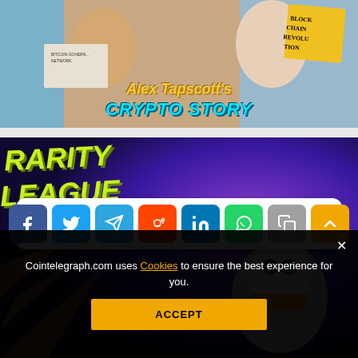[Figure (illustration): Promotional banner for Alex Tapscott's Crypto Story with animated characters and blockchain-themed visuals. Yellow text reads 'Alex Tapscott's' and cyan text reads 'CRYPTO STORY'. A sign reads 'BLOCKCHAIN REVOLUTION'.]
[Figure (illustration): Promotional banner for Rarity League with green graffiti-style text on purple background reading 'RARITY LEAGUE'. Share buttons row below with icons for Facebook, Twitter, Telegram, Reddit, LinkedIn, WhatsApp, Copy, and Scroll-to-top.]
Cointelegraph.com uses Cookies to ensure the best experience for you.
ACCEPT